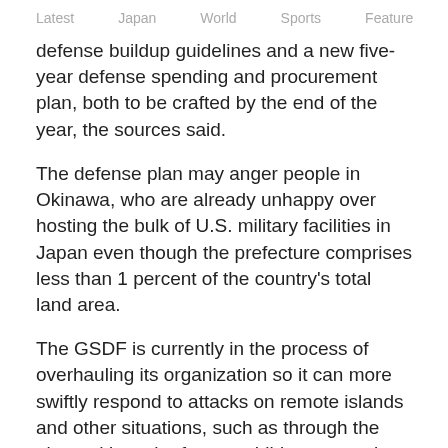Latest   Japan   World   Sports   Feature   Arts
defense buildup guidelines and a new five-year defense spending and procurement plan, both to be crafted by the end of the year, the sources said.
The defense plan may anger people in Okinawa, who are already unhappy over hosting the bulk of U.S. military facilities in Japan even though the prefecture comprises less than 1 percent of the country's total land area.
The GSDF is currently in the process of overhauling its organization so it can more swiftly respond to attacks on remote islands and other situations, such as through the planned launch of an amphibious operations brigade at the end of March.
The 2,100-member brigade, modeled after the U.S. Marine Corps, will be stationed mainly at Camp